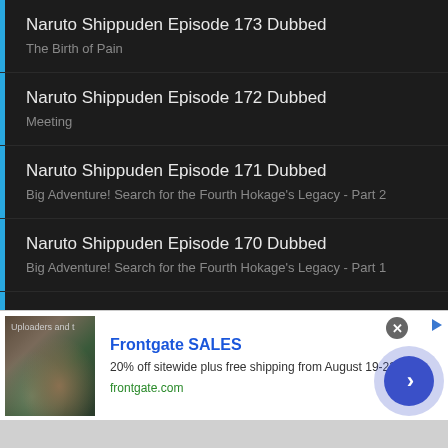Naruto Shippuden Episode 173 Dubbed
The Birth of Pain
Naruto Shippuden Episode 172 Dubbed
Meeting
Naruto Shippuden Episode 171 Dubbed
Big Adventure! Search for the Fourth Hokage's Legacy - Part 2
Naruto Shippuden Episode 170 Dubbed
Big Adventure! Search for the Fourth Hokage's Legacy - Part 1
Naruto Shippuden Episode 169 Dubbed
The Two Disciples
Naruto Shippuden Episode 168 Dubbed
The Fourth Hokage
[Figure (screenshot): Advertisement banner for Frontgate SALES showing outdoor furniture image on left, text '20% off sitewide plus free shipping from August 19-22' and 'frontgate.com' with a blue arrow button on right]